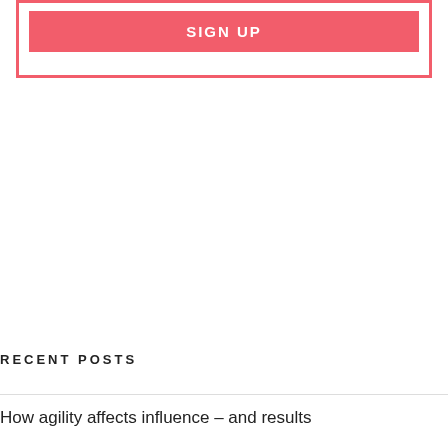[Figure (screenshot): Red-bordered box with a pink/red 'SIGN UP' button inside]
[Figure (screenshot): Search bar with text 'Search ...' and a dark search button with magnifying glass icon]
RECENT POSTS
How agility affects influence – and results